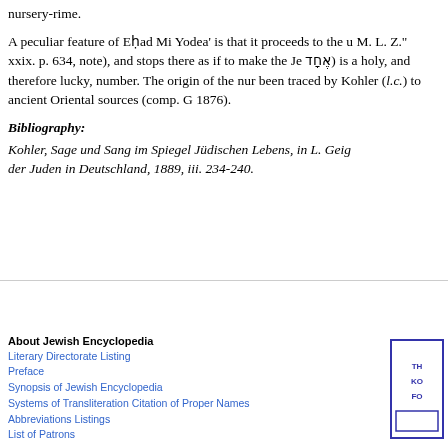nursery-rime.
A peculiar feature of Eḥad Mi Yodea' is that it proceeds to the u... M. L. Z." xxix. p. 634, note), and stops there as if to make the Je... אחד) is a holy, and therefore lucky, number. The origin of the nur... been traced by Kohler (l.c.) to ancient Oriental sources (comp. G... 1876).
Bibliography:
Kohler, Sage und Sang im Spiegel Jüdischen Lebens, in L. Geig... der Juden in Deutschland, 1889, iii. 234-240.
About Jewish Encyclopedia
Literary Directorate Listing
Preface
Synopsis of Jewish Encyclopedia
Systems of Transliteration Citation of Proper Names
Abbreviations Listings
List of Patrons